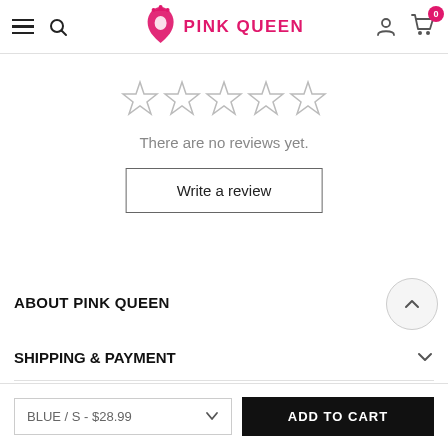PINK QUEEN
[Figure (other): 5 empty star rating icons in a row]
There are no reviews yet.
Write a review
ABOUT PINK QUEEN
SHIPPING & PAYMENT
BLUE / S - $28.99
ADD TO CART